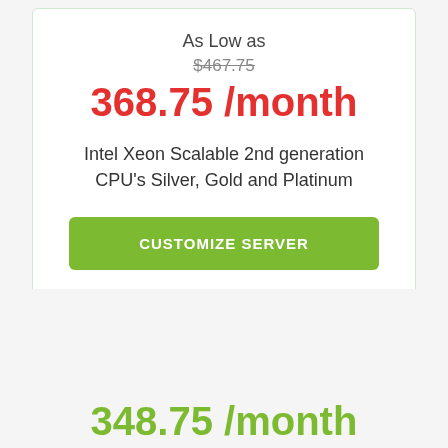As Low as
$467.75
368.75 /month
Intel Xeon Scalable 2nd generation CPU's Silver, Gold and Platinum
CUSTOMIZE SERVER
348.75 /month